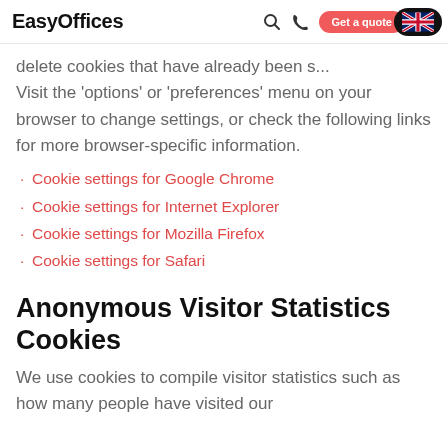EasyOffices | Get a quote
delete cookies that have already been s... Visit the 'options' or 'preferences' menu on your browser to change settings, or check the following links for more browser-specific information.
Cookie settings for Google Chrome
Cookie settings for Internet Explorer
Cookie settings for Mozilla Firefox
Cookie settings for Safari
Anonymous Visitor Statistics Cookies
We use cookies to compile visitor statistics such as how many people have visited our